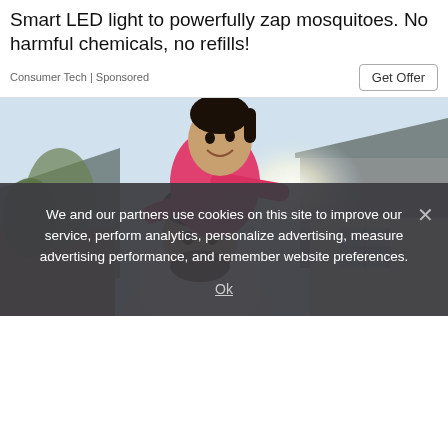Smart LED light to powerfully zap mosquitoes. No harmful chemicals, no refills!
Consumer Tech | Sponsored
Get Offer
[Figure (photo): A laughing child in a pink jacket sitting on the shoulders of a smiling bearded man in front of a house, with bright sunlight in the background]
We and our partners use cookies on this site to improve our service, perform analytics, personalize advertising, measure advertising performance, and remember website preferences.
Ok